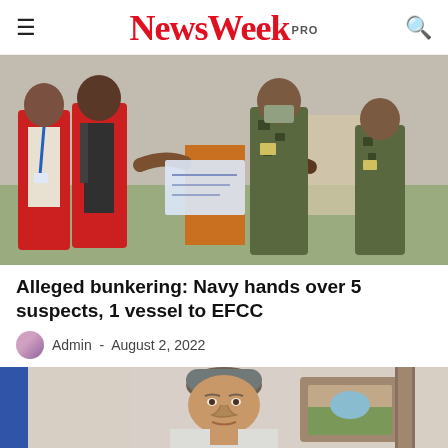NewsWeekPRO
[Figure (photo): People in red vests shaking hands with military personnel in camouflage uniforms outdoors]
Alleged bunkering: Navy hands over 5 suspects, 1 vessel to EFCC
Admin - August 2, 2022
[Figure (photo): Close-up portrait of a man with gray hair indoors]